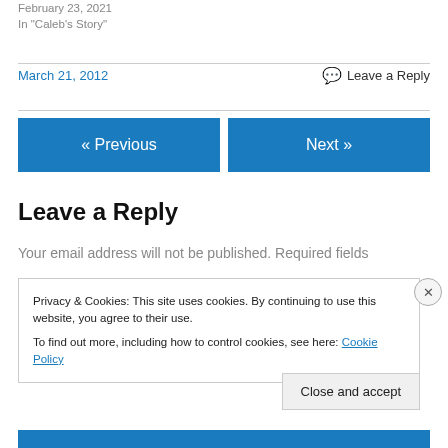February 23, 2021
In "Caleb's Story"
March 21, 2012
Leave a Reply
« Previous
Next »
Leave a Reply
Your email address will not be published. Required fields
Privacy & Cookies: This site uses cookies. By continuing to use this website, you agree to their use.
To find out more, including how to control cookies, see here: Cookie Policy
Close and accept